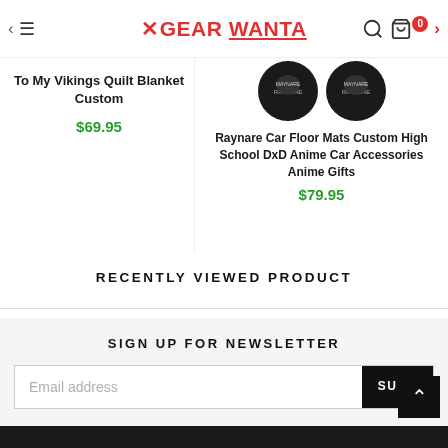GEAR WANTA
To My Vikings Quilt Blanket Custom
$69.95
[Figure (photo): Two circular car floor mats with Raynare High School DxD anime design on dark background]
Raynare Car Floor Mats Custom High School DxD Anime Car Accessories Anime Gifts
$79.95
RECENTLY VIEWED PRODUCT
SIGN UP FOR NEWSLETTER
Email address
SUBS